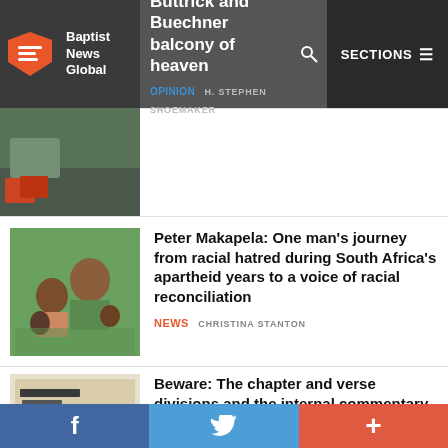Baptist News Global | SECTIONS
Buttrick and Buechner balcony of heaven
OPINION H. STEPHEN SHOEMAKER
[Figure (photo): Family photo of Peter Makapela with wife and children]
Peter Makapela: One man's journey from racial hatred during South Africa's apartheid years to a voice of racial reconciliation
NEWS CHRISTINA STANTON
[Figure (photo): Open Bible showing Romans text]
Beware: The chapter and verse divisions and the internal commentary in English Bibles may fail us
OPINION RUSSELL WALDROP
f  🐦  +